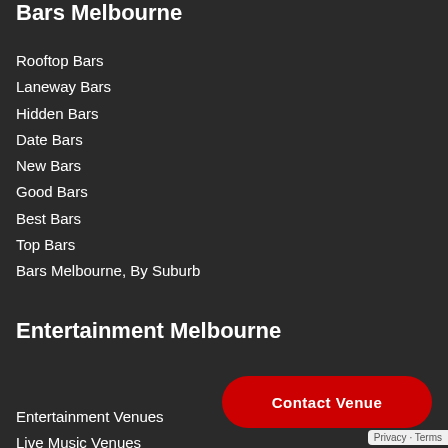Bars Melbourne
Rooftop Bars
Laneway Bars
Hidden Bars
Date Bars
New Bars
Good Bars
Best Bars
Top Bars
Bars Melbourne, By Suburb
Entertainment Melbourne
[Figure (other): Red Contact Venue button]
Entertainment Venues
Live Music Venues